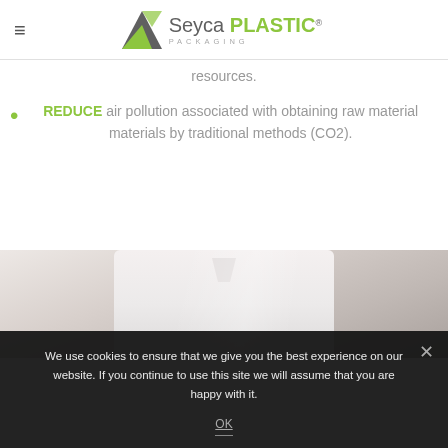Seyca PLASTIC PACKAGING
resources.
REDUCE air pollution associated with obtaining raw material materials by traditional methods (CO2).
[Figure (photo): Partial view of a person wearing a white shirt or lab coat, cropped to show the torso/chest area.]
We use cookies to ensure that we give you the best experience on our website. If you continue to use this site we will assume that you are happy with it.
OK